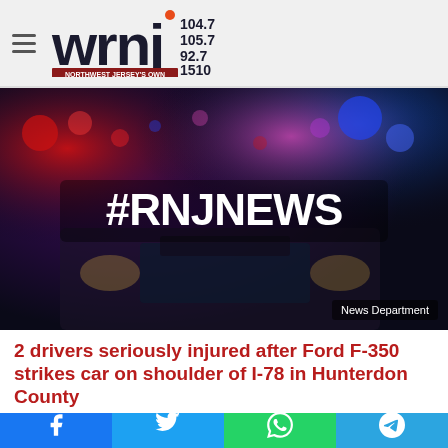wrnj 104.7 105.7 92.7 1510 NORTHWEST JERSEY'S OWN
[Figure (photo): Police emergency lights at night with #RNJNEWS text overlay. Caption badge: News Department]
2 drivers seriously injured after Ford F-350 strikes car on shoulder of I-78 in Hunterdon County